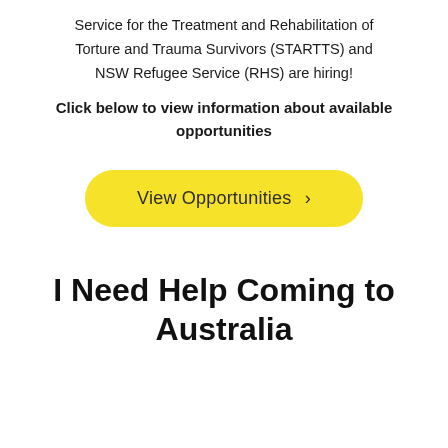Service for the Treatment and Rehabilitation of Torture and Trauma Survivors (STARTTS) and NSW Refugee Service (RHS) are hiring!
Click below to view information about available opportunities
[Figure (other): Yellow rounded button labeled 'View Opportunities >' linking to job opportunities]
I Need Help Coming to Australia